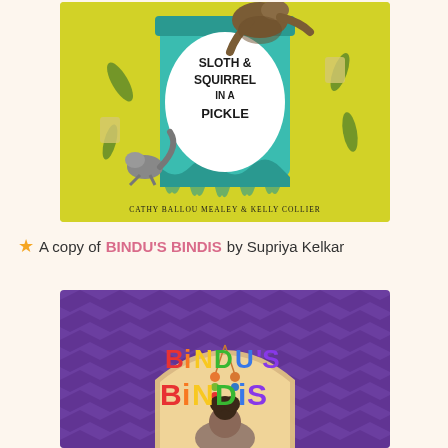[Figure (illustration): Book cover of 'Sloth & Squirrel in a Pickle' by Cathy Ballou Mealey & Kelly Collier. Yellow-green background with a sloth hanging on a large teal pickle jar, a squirrel running below, and pickle jars and pickles flying around. A white oval label on the jar reads 'SLOTH & SQUIRREL IN A PICKLE'.]
★ A copy of BINDU'S BINDIS by Supriya Kelkar
[Figure (illustration): Book cover of 'Bindu's Bindis' by Supriya Kelkar. Purple chevron background with colorful letters spelling 'BINDU'S BINDIS' in rainbow colors. An arch/dome shape with decorative hanging beads and a character visible at the bottom.]